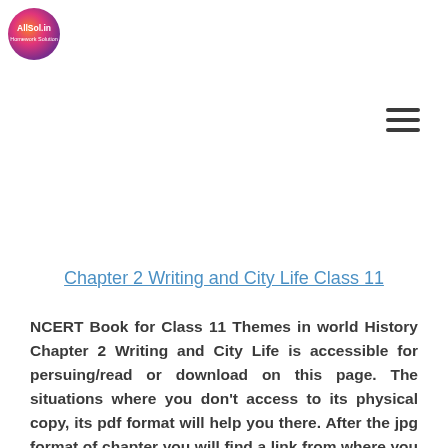[Figure (logo): AllSol.in circular logo with gradient pink/orange/purple background and white text]
[Figure (other): Hamburger menu icon with three horizontal lines]
Chapter 2 Writing and City Life Class 11
NCERT Book for Class 11 Themes in world History Chapter 2 Writing and City Life is accessible for persuing/read or download on this page. The situations where you don't access to its physical copy, its pdf format will help you there. After the jpg format of chapter you will find a link from where you can download it in pdf format for your future reference and for